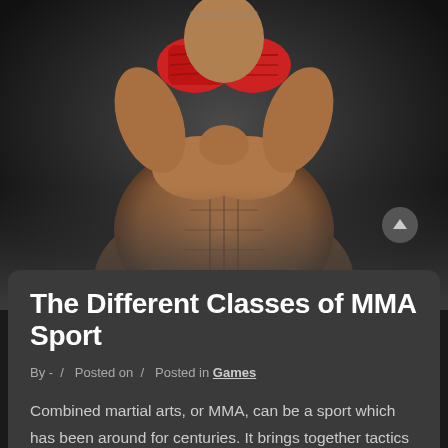[Figure (photo): Muscular MMA fighter with red hand wraps, shirtless, dark background, dramatic lighting]
The Different Classes of MMA Sport
By -  /  Posted on  /  Posted in Games
Combined martial arts, or MMA, can be a sport which has been around for centuries. It brings together tactics from numerous disciplines, which include boxing, wrestling, and jujitsu. Because of this, you can find distinct classes in MMA, every featuring its own distinctive pair of rules and regulations. In